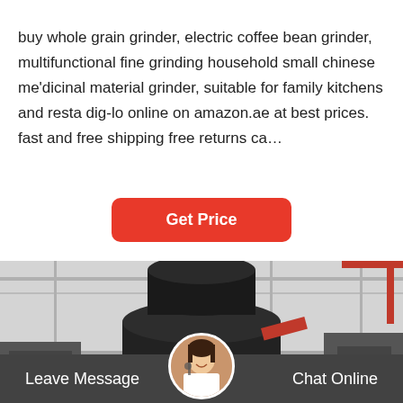buy whole grain grinder, electric coffee bean grinder, multifunctional fine grinding household small chinese me'dicinal material grinder, suitable for family kitchens and resta dig-lo online on amazon.ae at best prices. fast and free shipping free returns ca…
Get Price
[Figure (photo): Industrial grinding/crushing machine (cone crusher) on a factory floor, with red accent components, surrounded by heavy industrial equipment.]
Leave Message
Chat Online